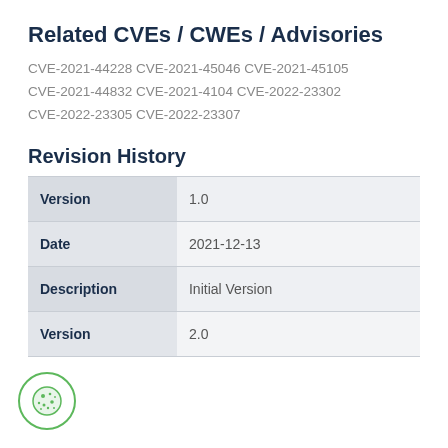Related CVEs / CWEs / Advisories
CVE-2021-44228 CVE-2021-45046 CVE-2021-45105 CVE-2021-44832 CVE-2021-4104 CVE-2022-23302 CVE-2022-23305 CVE-2022-23307
Revision History
|  |  |
| --- | --- |
| Version | 1.0 |
| Date | 2021-12-13 |
| Description | Initial Version |
| Version | 2.0 |